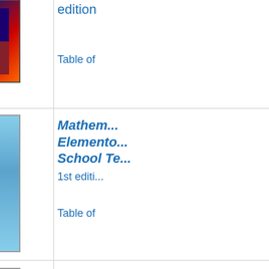[Figure (photo): Book cover with colorful abstract/music theme, dark red and blue tones]
edition
Table of
[Figure (photo): Book cover: Mathematics for Elementary School Teachers, showing direction signs on a post against a blue sky]
Mathematics for Elementary School Te...
1st editi...
Table of
[Figure (photo): Book cover: Mathematical Interest Theory 3rd Edition, showing classical columns building, purple header]
Mathematical Interest Theory
3rd editi...